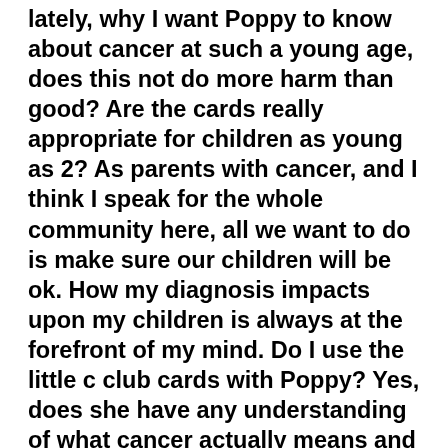lately, why I want Poppy to know about cancer at such a young age, does this not do more harm than good? Are the cards really appropriate for children as young as 2? As parents with cancer, and I think I speak for the whole community here, all we want to do is make sure our children will be ok. How my diagnosis impacts upon my children is always at the forefront of my mind. Do I use the little c club cards with Poppy? Yes, does she have any understanding of what cancer actually means and the possible implications? No, I dont feel she is ready yet